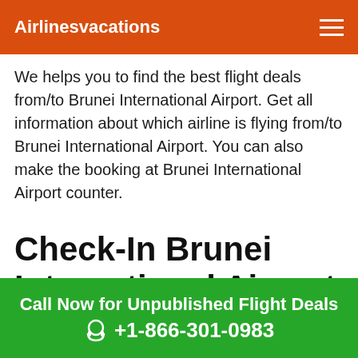Airlinesvacations
We helps you to find the best flight deals from/to Brunei International Airport. Get all information about which airline is flying from/to Brunei International Airport. You can also make the booking at Brunei International Airport counter.
Check-In Brunei International Airport
Online check-in option is available at Brunei
Call Now for Unpublished Flight Deals +1-866-301-0983